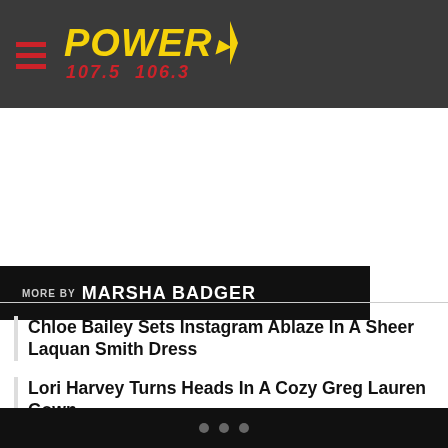POWER 107.5 106.3
MORE BY MARSHA BADGER
Chloe Bailey Sets Instagram Ablaze In A Sheer Laquan Smith Dress
Lori Harvey Turns Heads In A Cozy Greg Lauren Gown
These 11 Puzzling Phrases From 'Love Island UK' Confuse Americans